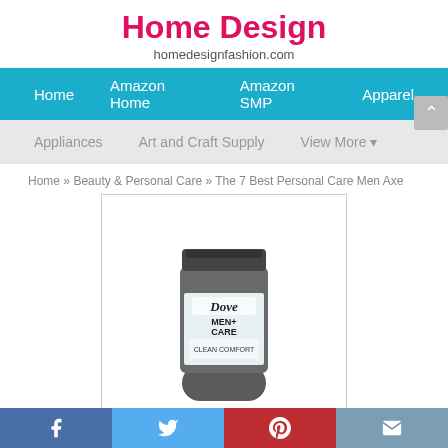Home Design
homedesignfashion.com
Home | Amazon Home | Amazon SMP | Apparel
Appliances | Art and Craft Supply | View More ▾
Home » Beauty & Personal Care » The 7 Best Personal Care Men Axe
[Figure (photo): Dove Men+Care deodorant stick product image]
The 7 Best Personal Care Men